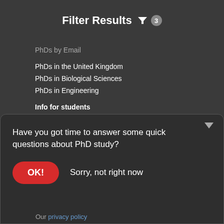Filter Results 3
PhDs by Email
PhDs in the United Kingdom
PhDs in Biological Sciences
PhDs in Engineering
Info for students
Postgraduate Open Days
PhD Study Guides
PhD Study Abroad
Funding Your PhD
Postgraduate Advice Forum
Postgraduate Email Updates
Info for advertisers
Have you got time to answer some quick questions about PhD study?
OK!   Sorry, not right now
Our privacy policy